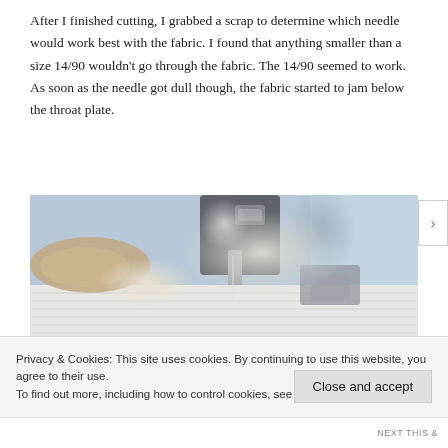After I finished cutting, I grabbed a scrap to determine which needle would work best with the fabric. I found that anything smaller than a size 14/90 wouldn't go through the fabric. The 14/90 seemed to work. As soon as the needle got dull though, the fabric started to jam below the throat plate.
[Figure (photo): Close-up photo of a sewing machine needle and presser foot working on white ribbed/woven fabric, with blue natural light in the background.]
Privacy & Cookies: This site uses cookies. By continuing to use this website, you agree to their use.
To find out more, including how to control cookies, see here: Cookie Policy
Close and accept